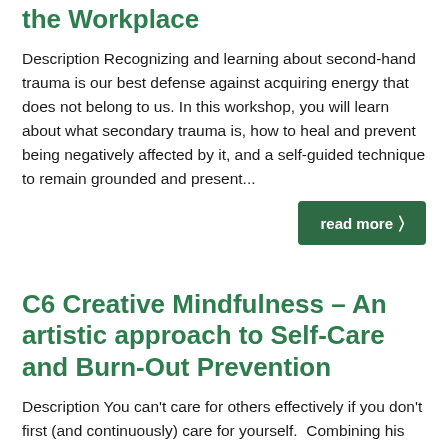the Workplace
Description Recognizing and learning about second-hand trauma is our best defense against acquiring energy that does not belong to us. In this workshop, you will learn about what secondary trauma is, how to heal and prevent being negatively affected by it, and a self-guided technique to remain grounded and present...
read more >
C6 Creative Mindfulness – An artistic approach to Self-Care and Burn-Out Prevention
Description You can't care for others effectively if you don't first (and continuously) care for yourself.  Combining his 15 years of experience teaching creative writing and his work as a certified mindfulness trainer, Joseph guides his